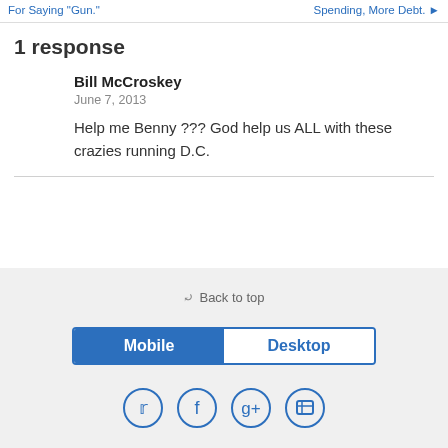For Saying 'Gun.' | Spending, More Debt.
1 response
Bill McCroskey
June 7, 2013
Help me Benny ??? God help us ALL with these crazies running D.C.
Back to top | Mobile | Desktop